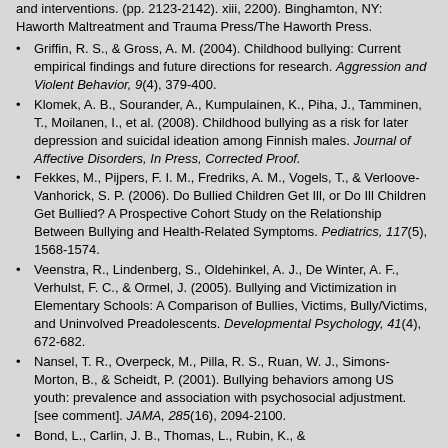and interventions. (pp. 2123-2142). xiii, 2200). Binghamton, NY: Haworth Maltreatment and Trauma Press/The Haworth Press.
Griffin, R. S., & Gross, A. M. (2004). Childhood bullying: Current empirical findings and future directions for research. Aggression and Violent Behavior, 9(4), 379-400.
Klomek, A. B., Sourander, A., Kumpulainen, K., Piha, J., Tamminen, T., Moilanen, I., et al. (2008). Childhood bullying as a risk for later depression and suicidal ideation among Finnish males. Journal of Affective Disorders, In Press, Corrected Proof.
Fekkes, M., Pijpers, F. I. M., Fredriks, A. M., Vogels, T., & Verloove-Vanhorick, S. P. (2006). Do Bullied Children Get Ill, or Do Ill Children Get Bullied? A Prospective Cohort Study on the Relationship Between Bullying and Health-Related Symptoms. Pediatrics, 117(5), 1568-1574.
Veenstra, R., Lindenberg, S., Oldehinkel, A. J., De Winter, A. F., Verhulst, F. C., & Ormel, J. (2005). Bullying and Victimization in Elementary Schools: A Comparison of Bullies, Victims, Bully/Victims, and Uninvolved Preadolescents. Developmental Psychology, 41(4), 672-682.
Nansel, T. R., Overpeck, M., Pilla, R. S., Ruan, W. J., Simons-Morton, B., & Scheidt, P. (2001). Bullying behaviors among US youth: prevalence and association with psychosocial adjustment.[see comment]. JAMA, 285(16), 2094-2100.
Bond, L., Carlin, J. B., Thomas, L., Rubin, K., &